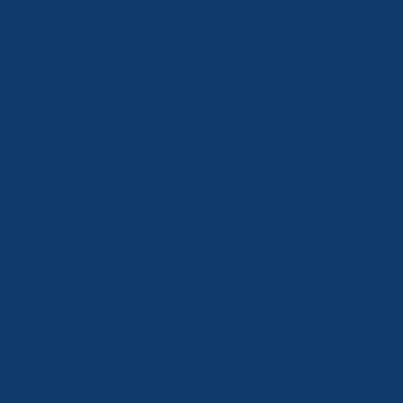aven't read it yet, and I find I'm just not in that much of a h